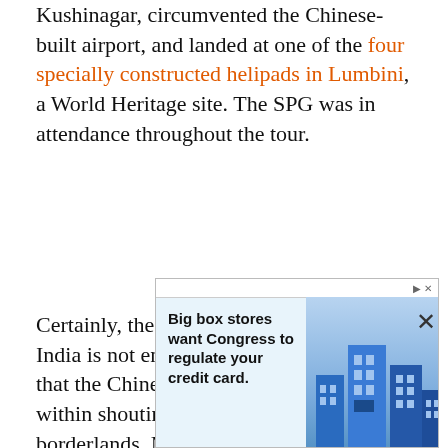Kushinagar, circumvented the Chinese-built airport, and landed at one of the four specially constructed helipads in Lumbini, a World Heritage site. The SPG was in attendance throughout the tour.
Certainly, the PM was signalling that India is not entirely pleased with the fact that the Chinese have reached the Terai, within shouting distance of its borderlands. Modi is acutely aware of the fact that it has been two years since Chinese troops crossed the Line of Actual Control in Ladakh; they have been held in place by more than 50,000 Indian soldiers on the icy heights.
[Figure (logo): The Print circular logo watermark in orange]
[Figure (infographic): Advertisement banner: Big box stores want Congress to regulate your credit card. Shows text on left and blue building illustration on right.]